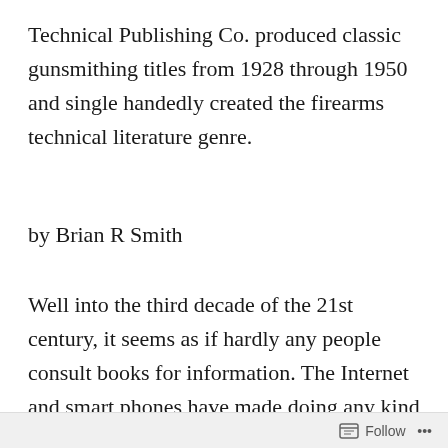Technical Publishing Co. produced classic gunsmithing titles from 1928 through 1950 and single handedly created the firearms technical literature genre.
by Brian R Smith
Well into the third decade of the 21st century, it seems as if hardly any people consult books for information. The Internet and smart phones have made doing any kind of research far too easy and convenient. The cellular mobile phone has become such an effective source of instant
Follow